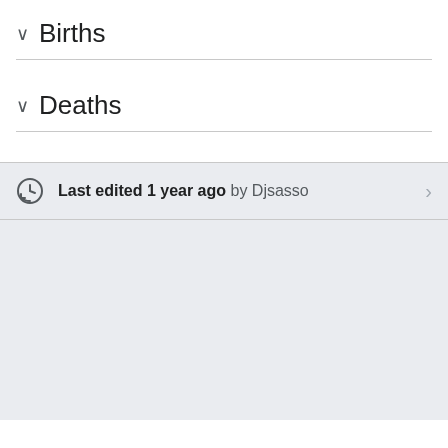Births
Deaths
Last edited 1 year ago by Djsasso